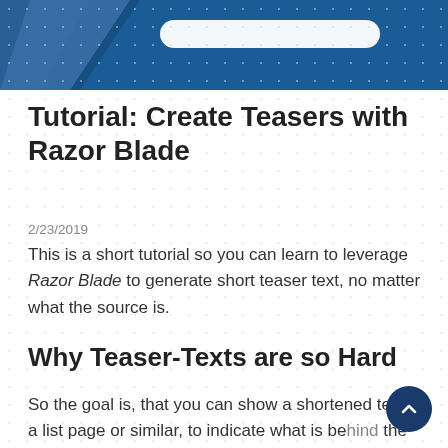[Figure (illustration): Blue header banner with decorative angular shapes on the left and a white search bar element in the center-right area]
Tutorial: Create Teasers with Razor Blade
2/23/2019
This is a short tutorial so you can learn to leverage Razor Blade to generate short teaser text, no matter what the source is.
Why Teaser-Texts are so Hard
So the goal is, that you can show a shortened text on a list page or similar, to indicate what is behind the link. The challenges usually are: